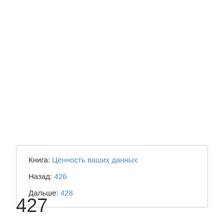Книга: Ценность ваших данных
Назад: 426
Дальше: 428
427